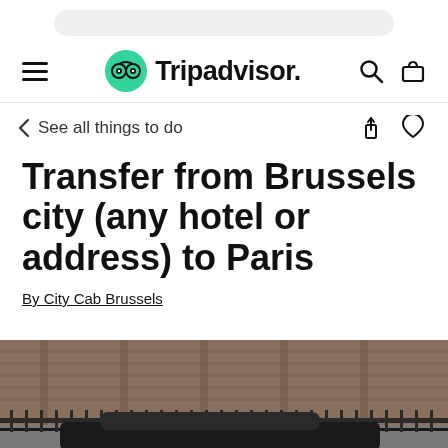Tripadvisor
See all things to do
Transfer from Brussels city (any hotel or address) to Paris
By City Cab Brussels
[Figure (photo): Bottom portion showing a dark vehicle parked in front of a historic brick building with iron railings]